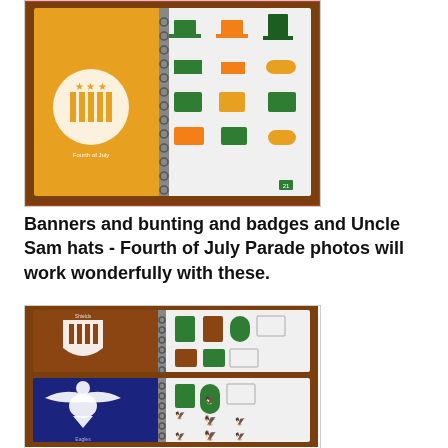[Figure (photo): Photo of an open spiral-bound notebook/design book showing patriotic American-themed clipart icons including Uncle Sam hats, banners, stars, and other Fourth of July motifs on yellow/orange and white pages on a wooden table surface.]
Banners and bunting and badges and Uncle Sam hats - Fourth of July Parade photos will work wonderfully with these.
[Figure (photo): Photo of an open spiral-bound notebook/design book showing patriotic American-themed clipart icons including eagles, shields, badge shapes in green, brown/copper, blue and white color schemes on a wooden table surface.]